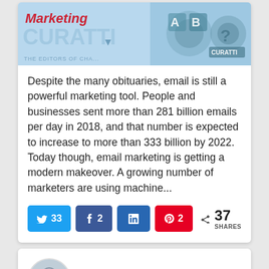[Figure (illustration): Marketing Curatti blog header image with logo text and decorative graphic elements on a light blue background]
Despite the many obituaries, email is still a powerful marketing tool. People and businesses sent more than 281 billion emails per day in 2018, and that number is expected to increase to more than 333 billion by 2022. Today though, email marketing is getting a modern makeover. A growing number of marketers are using machine...
33 (Twitter), 2 (Facebook), LinkedIn, 2 (Pinterest), 37 SHARES
Nathan Sykes
January 17, 2019